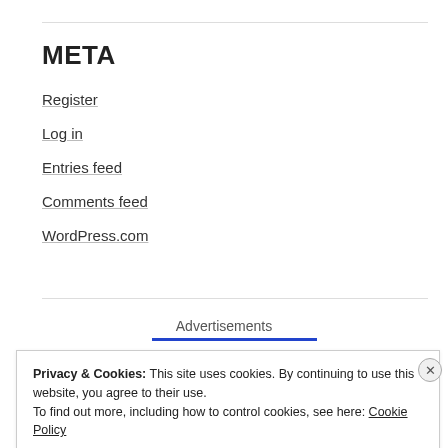META
Register
Log in
Entries feed
Comments feed
WordPress.com
Advertisements
Privacy & Cookies: This site uses cookies. By continuing to use this website, you agree to their use.
To find out more, including how to control cookies, see here: Cookie Policy
Close and accept